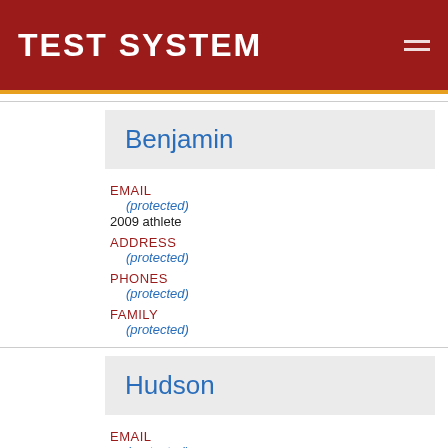TEST SYSTEM
Benjamin
EMAIL
(protected)
2009 athlete
ADDRESS
(protected)
PHONES
(protected)
FAMILY
(protected)
Hudson
EMAIL
(protected)
2009 athlete